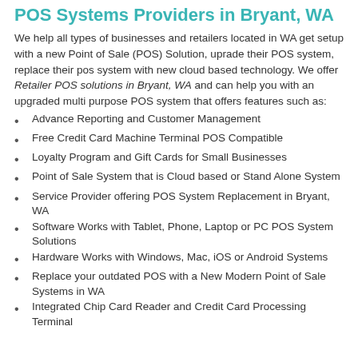POS Systems Providers in Bryant, WA
We help all types of businesses and retailers located in WA get setup with a new Point of Sale (POS) Solution, uprade their POS system, replace their pos system with new cloud based technology. We offer Retailer POS solutions in Bryant, WA and can help you with an upgraded multi purpose POS system that offers features such as:
Advance Reporting and Customer Management
Free Credit Card Machine Terminal POS Compatible
Loyalty Program and Gift Cards for Small Businesses
Point of Sale System that is Cloud based or Stand Alone System
Service Provider offering POS System Replacement in Bryant, WA
Software Works with Tablet, Phone, Laptop or PC POS System Solutions
Hardware Works with Windows, Mac, iOS or Android Systems
Replace your outdated POS with a New Modern Point of Sale Systems in WA
Integrated Chip Card Reader and Credit Card Processing Terminal